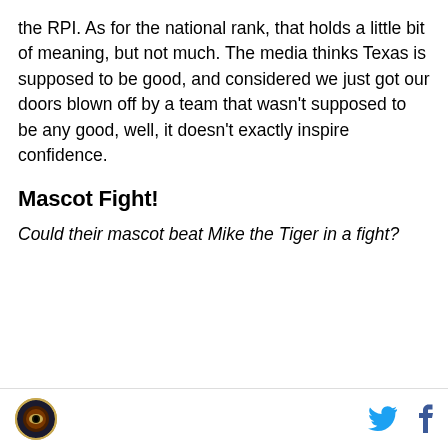the RPI. As for the national rank, that holds a little bit of meaning, but not much. The media thinks Texas is supposed to be good, and considered we just got our doors blown off by a team that wasn't supposed to be any good, well, it doesn't exactly inspire confidence.
Mascot Fight!
Could their mascot beat Mike the Tiger in a fight?